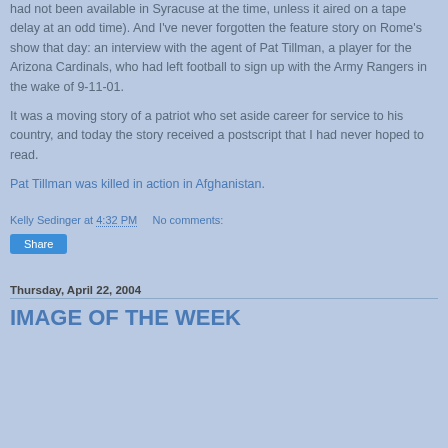had not been available in Syracuse at the time, unless it aired on a tape delay at an odd time). And I've never forgotten the feature story on Rome's show that day: an interview with the agent of Pat Tillman, a player for the Arizona Cardinals, who had left football to sign up with the Army Rangers in the wake of 9-11-01.
It was a moving story of a patriot who set aside career for service to his country, and today the story received a postscript that I had never hoped to read.
Pat Tillman was killed in action in Afghanistan.
Kelly Sedinger at 4:32 PM     No comments:
Share
Thursday, April 22, 2004
IMAGE OF THE WEEK